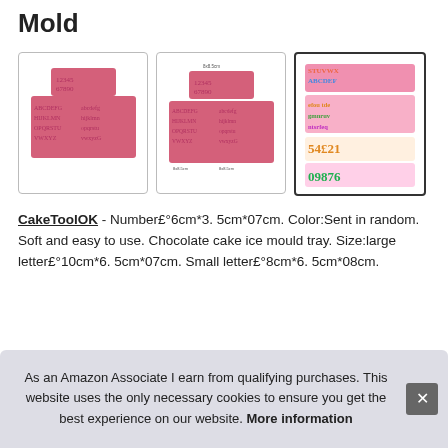Mold
[Figure (photo): Three product images showing pink silicone alphabet and number molds. First image: plain pink molds with uppercase and lowercase letters. Second image: same molds with size measurements shown. Third image: colorful finished fondant/chocolate letters and numbers made from the molds.]
CakeToolOK - Number£°6cm*3. 5cm*07cm. Color:Sent in random. Soft and easy to use. Chocolate cake ice mould tray. Size:large letter£°10cm*6. 5cm*07cm. Small letter£°8cm*6. 5cm*08cm.
As an Amazon Associate I earn from qualifying purchases. This website uses the only necessary cookies to ensure you get the best experience on our website. More information